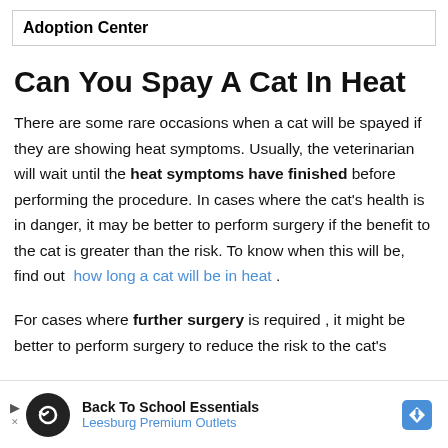Adoption Center
Can You Spay A Cat In Heat
There are some rare occasions when a cat will be spayed if they are showing heat symptoms. Usually, the veterinarian will wait until the heat symptoms have finished before performing the procedure. In cases where the cat's health is in danger, it may be better to perform surgery if the benefit to the cat is greater than the risk. To know when this will be, find out how long a cat will be in heat .
For cases where further surgery is required , it might be better to perform surgery to reduce the risk to the cat's
[Figure (screenshot): Advertisement banner: Back To School Essentials – Leesburg Premium Outlets, with circular logo and blue diamond arrow icon]